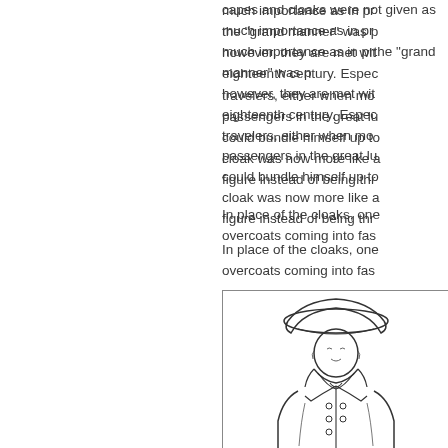capes and cloaks were not given much importance as in previous times; the "grand manner" was past. In traveling, however, they are met with frequently in the eighteenth century. Especially useful to travelers, either when mounted or as passengers in the great lumbering coaches, could bundle himself up to keep warm. The cloak was now more like a wrap for the figure instead of being thrown back.
In place of the cloaks, one finds the overcoats coming into fas...
[Figure (illustration): Line drawing of a male figure from approximately chest up, wearing a tricorn hat, high collar or cravat, and a coat with large buttons and lapels. The figure faces slightly left.]